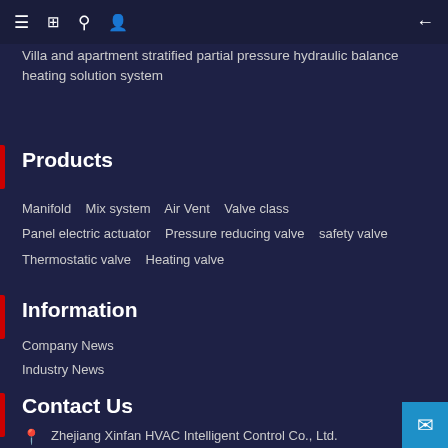Villa and apartment stratified partial pressure hydraulic balance heating solution system
Products
Manifold  Mix system  Air Vent  Valve class  Panel electric actuator  Pressure reducing valve  safety valve  Thermostatic valve  Heating valve
Information
Company News
Industry News
Contact Us
Zhejiang Xinfan HVAC Intelligent Control Co., Ltd.
0576-87121991